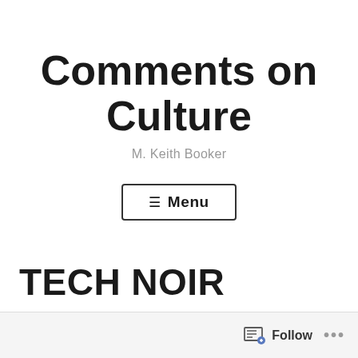Comments on Culture
M. Keith Booker
≡ Menu
TECH NOIR
Follow ...